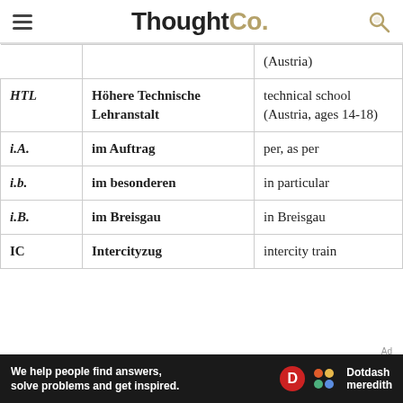ThoughtCo.
|  |  | (Austria) |
| HTL | Höhere Technische Lehranstalt | technical school (Austria, ages 14-18) |
| i.A. | im Auftrag | per, as per |
| i.b. | im besonderen | in particular |
| i.B. | im Breisgau | in Breisgau |
| IC | Intercityzug | intercity train |
We help people find answers, solve problems and get inspired. Dotdash meredith